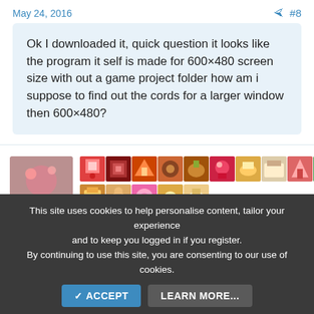May 24, 2016   #8
Ok I downloaded it, quick question it looks like the program it self is made for 600×480 screen size with out a game project folder how am i suppose to find out the cords for a larger window then 600×480?
[Figure (screenshot): User avatar and emoji/pixel art icons row showing various food and character sprites, with a username spelled vertically: r, c, h, e, i]
This site uses cookies to help personalise content, tailor your experience and to keep you logged in if you register.
By continuing to use this site, you are consenting to our use of cookies.